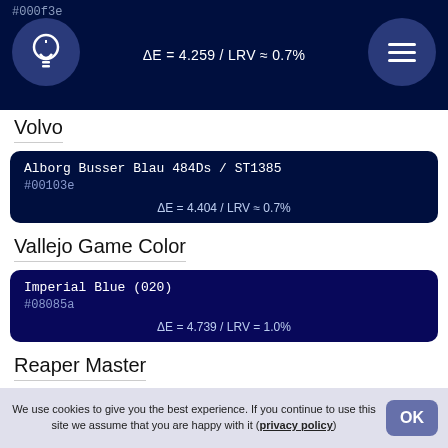#000f3e | ΔE = 4.259 / LRV ≈ 0.7%
Volvo
Alborg Busser Blau 484Ds / ST1385
#00103e
ΔE = 4.404 / LRV ≈ 0.7%
Vallejo Game Color
Imperial Blue (020)
#08085a
ΔE = 4.739 / LRV = 1.0%
Reaper Master
Brilliant Blue (9116)
#08085a
ΔE = 4.739 / LRV = 1.0%
Old Citadel
We use cookies to give you the best experience. If you continue to use this site we assume that you are happy with it (privacy policy)